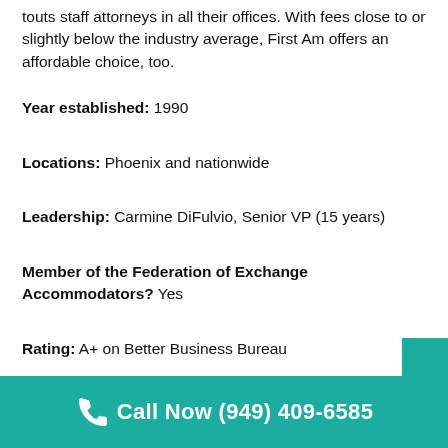touts staff attorneys in all their offices. With fees close to or slightly below the industry average, First Am offers an affordable choice, too.
Year established: 1990
Locations: Phoenix and nationwide
Leadership: Carmine DiFulvio, Senior VP (15 years)
Member of the Federation of Exchange Accommodators? Yes
Rating: A+ on Better Business Bureau
Company size: 100+
Call Now (949) 409-6585